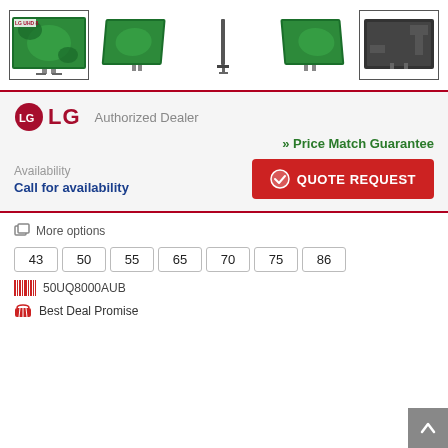[Figure (photo): Product image strip showing 5 thumbnail views of an LG UHD TV from various angles: front with screen showing nature pattern, slight angle, side profile, angled back view, rear view. First and last thumbnails have selection borders.]
LG Authorized Dealer
>> Price Match Guarantee
Availability
Call for availability
QUOTE REQUEST
More options
43
50
55
65
70
75
86
50UQ8000AUB
Best Deal Promise